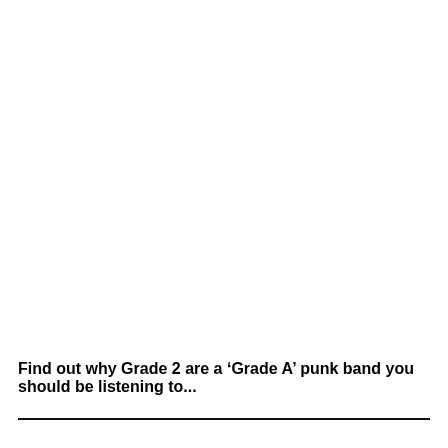Find out why Grade 2 are a 'Grade A' punk band you should be listening to...